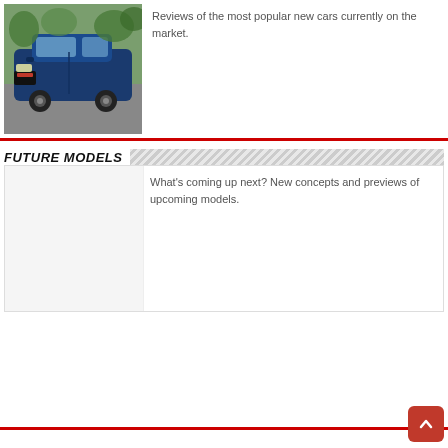[Figure (photo): Blue Subaru Forester SUV parked in a parking lot with trees in the background]
Reviews of the most popular new cars currently on the market.
FUTURE MODELS
What's coming up next? New concepts and previews of upcoming models.